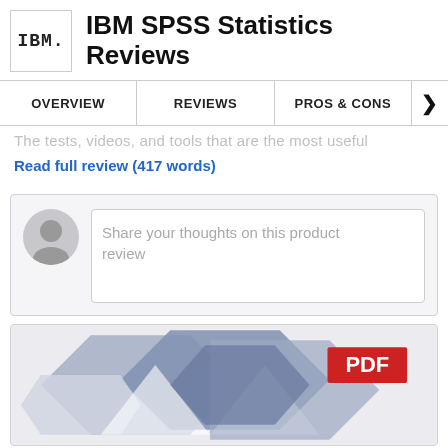IBM SPSS Statistics Reviews
OVERVIEW | REVIEWS | PROS & CONS
The tests, videos, and tools that are the most useful
Read full review (417 words)
Share your thoughts on this product review
[Figure (screenshot): PDF preview thumbnail showing geometric hexagonal shapes in blue/grey tones with a red PDF badge in the top right corner]